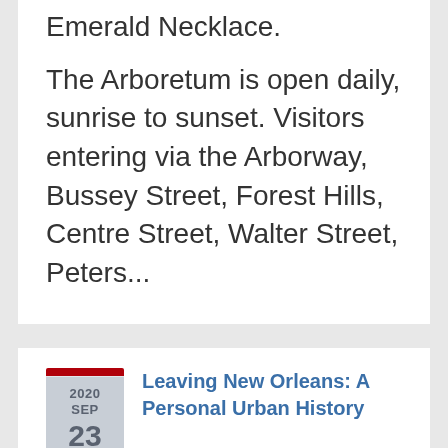Emerald Necklace.
The Arboretum is open daily, sunrise to sunset. Visitors entering via the Arborway, Bussey Street, Forest Hills, Centre Street, Walter Street, Peters...
[Figure (other): Calendar badge showing 2020 SEP 23 in a shield shape with a red bar on top]
Leaving New Orleans: A Personal Urban History
12:00pm
Location: Online—Radcliffe Institute for Advanced Study at Harvard